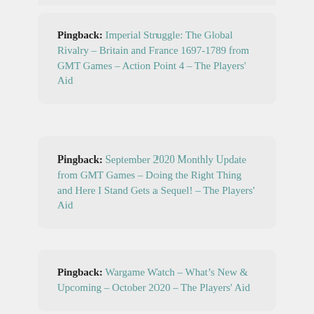Pingback: Imperial Struggle: The Global Rivalry – Britain and France 1697-1789 from GMT Games – Action Point 4 – The Players' Aid
Pingback: September 2020 Monthly Update from GMT Games – Doing the Right Thing and Here I Stand Gets a Sequel! – The Players' Aid
Pingback: Wargame Watch – What's New & Upcoming – October 2020 – The Players' Aid